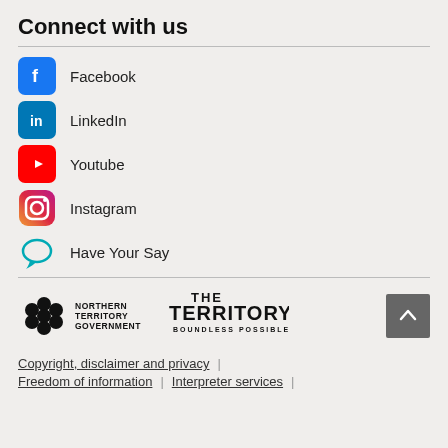Connect with us
Facebook
LinkedIn
Youtube
Instagram
Have Your Say
[Figure (logo): Northern Territory Government logo with flower symbol]
[Figure (logo): The Territory Boundless Possible logo]
Copyright, disclaimer and privacy | Freedom of information | Interpreter services |